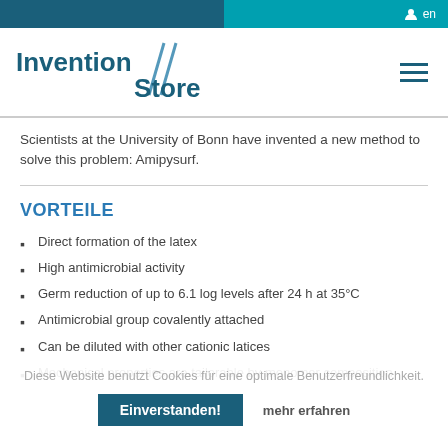en
[Figure (logo): Invention Store logo with double-slash graphic element between Invention and Store text]
Scientists at the University of Bonn have invented a new method to solve this problem: Amipysurf.
VORTEILE
Direct formation of the latex
High antimicrobial activity
Germ reduction of up to 6.1 log levels after 24 h at 35°C
Antimicrobial group covalently attached
Can be diluted with other cationic latices
Mechanical properties are tailorable by monomer composition
Diese Website benutzt Cookies für eine optimale Benutzerfreundlichkeit.
Einverstanden!   mehr erfahren